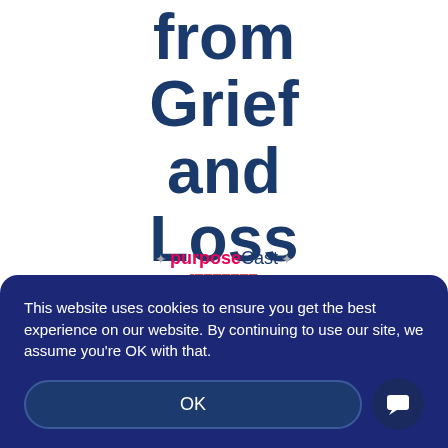from Grief and Loss
[Figure (logo): purposeCast logo with decorative dots and subtitle links]
Experiencing loss is
This website uses cookies to ensure you get the best experience on our website. By continuing to use our site, we assume you're OK with that.
OK